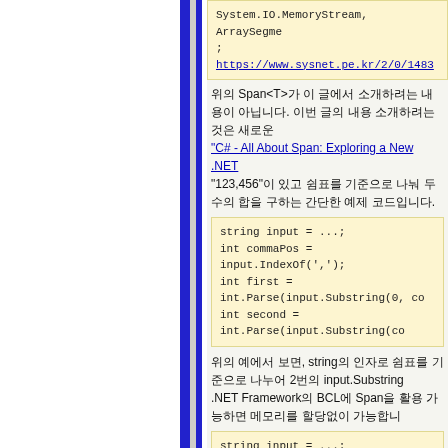System.IO.MemoryStream, ArraySegment
; https://www.sysnet.pe.kr/2/0/1483
위의 Span<T>가 이 글에서 소개하려는 내용이 아닙니다. 이번 글의 내용 소개하려는 것은 새로운 "C# - All About Span: Exploring a New .NET... "123,456"이 있고 쉼표를 기준으로 나눠 두 수의 합을 구하는 간단한 예제 코드입니다.
string input = ...;
int commaPos = input.IndexOf(',');
int first = int.Parse(input.Substring(0, co
int second = int.Parse(input.Substring(co
위의 예에서 보면, string의 인자로 쉼표를 기준으로 나누어 2번의 input.Substring
.NET Framework의 BCL에 Span을 활용 가능하면 메모리를 할당없이 가능합
string input = ...;
ReadOnlySpan<char> inputSpan = input.
int commaPos = input.IndexOf(',');
int first = int.Parse(inputSpan.Slice(0, co
int second = int.Parse(inputSpan.Slice(c